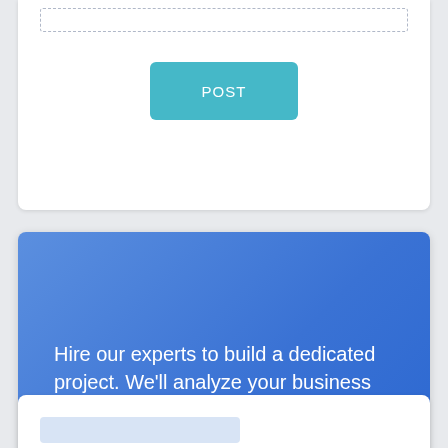[Figure (screenshot): Top portion of a white card with a dashed input box at top and a teal POST button below it]
POST
Hire our experts to build a dedicated project. We'll analyze your business requirements, for free.
[Figure (screenshot): Bottom partial white card with two light blue placeholder bars]